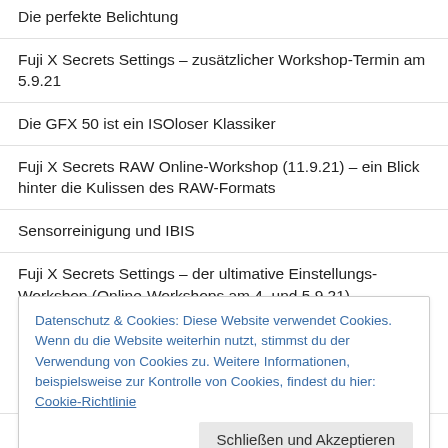Die perfekte Belichtung
Fuji X Secrets Settings – zusätzlicher Workshop-Termin am 5.9.21
Die GFX 50 ist ein ISOloser Klassiker
Fuji X Secrets RAW Online-Workshop (11.9.21) – ein Blick hinter die Kulissen des RAW-Formats
Sensorreinigung und IBIS
Fuji X Secrets Settings – der ultimative Einstellungs-Workshop (Online-Workshops am 4. und 5.9.21)
Datenschutz & Cookies: Diese Website verwendet Cookies. Wenn du die Website weiterhin nutzt, stimmst du der Verwendung von Cookies zu. Weitere Informationen, beispielsweise zur Kontrolle von Cookies, findest du hier: Cookie-Richtlinie
Schließen und Akzeptieren
T4 – am Sonntag (19. April) um 17:30 Uhr